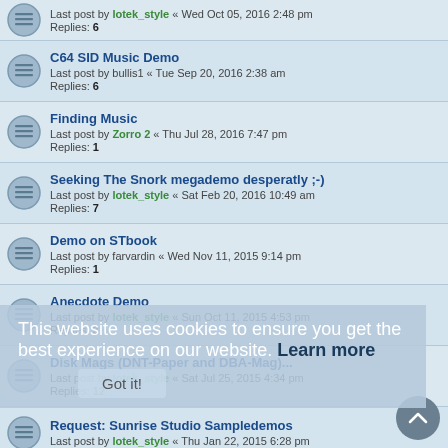Last post by lotek_style « Wed Oct 05, 2016 2:48 pm
Replies: 6
C64 SID Music Demo
Last post by bullis1 « Tue Sep 20, 2016 2:38 am
Replies: 6
Finding Music
Last post by Zorro 2 « Thu Jul 28, 2016 7:47 pm
Replies: 1
Seeking The Snork megademo desperatly ;-)
Last post by lotek_style « Sat Feb 20, 2016 10:49 am
Replies: 7
Demo on STbook
Last post by farvardin « Wed Nov 11, 2015 9:14 pm
Replies: 1
Anecdote Demo
Last post by lotek_style « Sun Oct 11, 2015 4:53 pm
Replies: 3
Disk Mags (DNT-Paper and DBA-Mag)...
Last post by lotek_style « Sat Jul 25, 2015 4:34 pm
Replies: 12
Request: Sunrise Studio Sampledemos
Last post by lotek_style « Thu Jan 22, 2015 6:28 pm
Best TT Demo out there?
Last post by AtariCrypt « Tue Jan 20, 2015 9:47 pm
Replies: 12
Demo ID/Request.
Last post by STEgregory « Tue Dec 30, 2014 8:03 am
Replies: 14